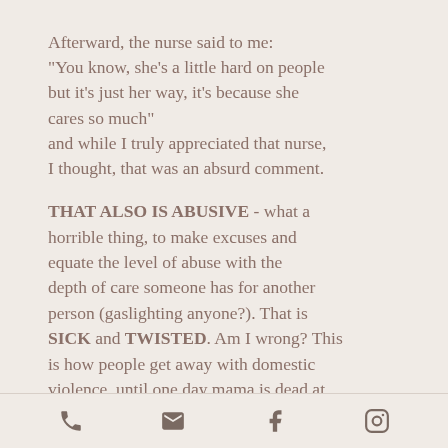Afterward, the nurse said to me: "You know, she's a little hard on people but it's just her way, it's because she cares so much" and while I truly appreciated that nurse, I thought, that was an absurd comment.

THAT ALSO IS ABUSIVE - what a horrible thing, to make excuses and equate the level of abuse with the depth of care someone has for another person (gaslighting anyone?).  That is SICK and TWISTED.  Am I wrong?  This is how people get away with domestic violence, until one day mama is dead at the hands of her partner and everyone says, but we never knew the partner
[phone] [email] [facebook] [instagram]